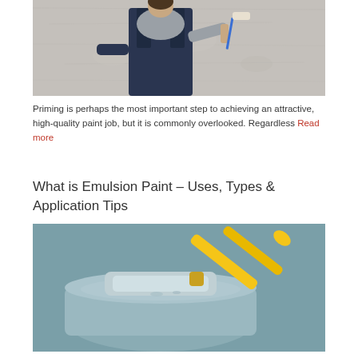[Figure (photo): Man in blue overalls applying primer/paint to a rough concrete wall using a paint roller, viewed from behind.]
Priming is perhaps the most important step to achieving an attractive, high-quality paint job, but it is commonly overlooked. Regardless Read more
What is Emulsion Paint – Uses, Types & Application Tips
[Figure (photo): Close-up of a paint roller with a yellow handle resting on a paint tray filled with grey-blue emulsion paint, against a teal-grey background.]